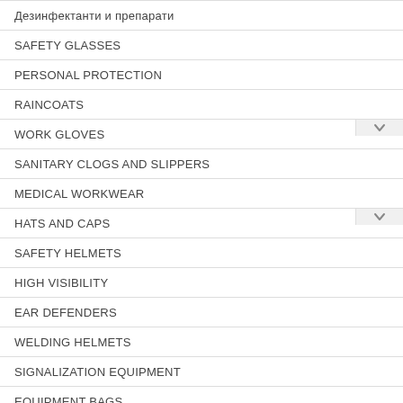Дезинфектанти и препарати
SAFETY GLASSES
PERSONAL PROTECTION
RAINCOATS
WORK GLOVES
SANITARY CLOGS AND SLIPPERS
MEDICAL WORKWEAR
HATS AND CAPS
SAFETY HELMETS
HIGH VISIBILITY
EAR DEFENDERS
WELDING HELMETS
SIGNALIZATION EQUIPMENT
EQUIPMENT BAGS